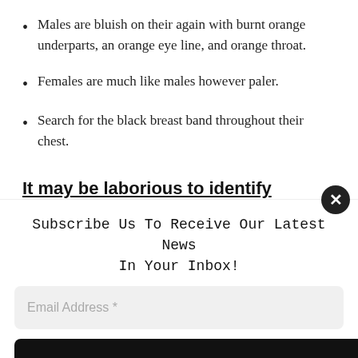Males are bluish on their again with burnt orange underparts, an orange eye line, and orange throat.
Females are much like males however paler.
Search for the black breast band throughout their chest.
It may be laborious to identify certainly one of these lovely orange birds in
Subscribe Us To Receive Our Latest News In Your Inbox!
Email Address *